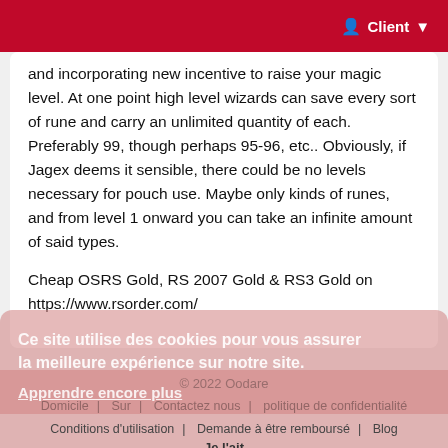Client
and incorporating new incentive to raise your magic level. At one point high level wizards can save every sort of rune and carry an unlimited quantity of each. Preferably 99, though perhaps 95-96, etc.. Obviously, if Jagex deems it sensible, there could be no levels necessary for pouch use. Maybe only kinds of runes, and from level 1 onward you can take an infinite amount of said types.
Cheap OSRS Gold, RS 2007 Gold & RS3 Gold on https://www.rsorder.com/
Ce site utilise des cookies pour vous assurer la meilleure expérience sur notre site.
Apprendre encore plus
© 2022 Oodare
Domicile   Sur   Contactez nous   politique de confidentialité
Conditions d'utilisation   Demande à être remboursé   Blog
Je l'ait
🌐 Langue